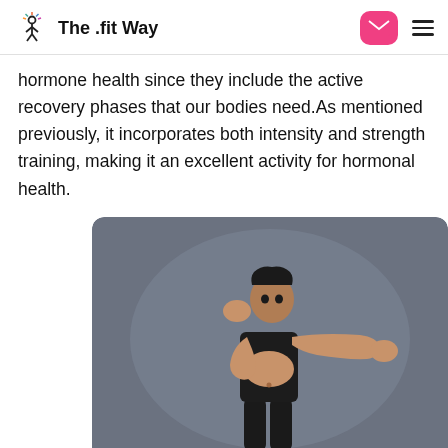The .fit Way
hormone health since they include the active recovery phases that our bodies need.As mentioned previously, it incorporates both intensity and strength training, making it an excellent activity for hormonal health.
[Figure (photo): A fit woman in a black sports bra and black leggings in a boxing stance, one fist raised to her face and the other extended forward, against a grey studio background.]